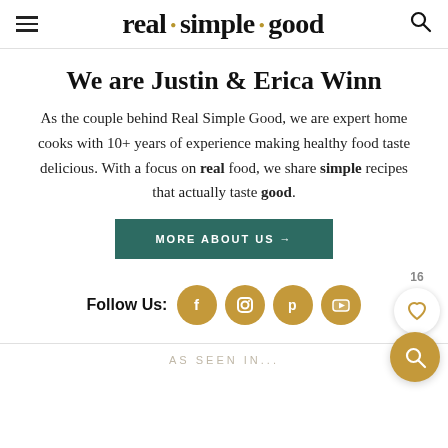real · simple · good
We are Justin & Erica Winn
As the couple behind Real Simple Good, we are expert home cooks with 10+ years of experience making healthy food taste delicious. With a focus on real food, we share simple recipes that actually taste good.
MORE ABOUT US →
Follow Us:
AS SEEN IN...